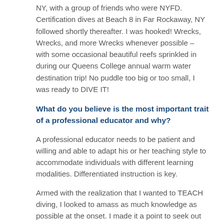NY, with a group of friends who were NYFD. Certification dives at Beach 8 in Far Rockaway, NY followed shortly thereafter. I was hooked! Wrecks, Wrecks, and more Wrecks whenever possible – with some occasional beautiful reefs sprinkled in during our Queens College annual warm water destination trip! No puddle too big or too small, I was ready to DIVE IT!
What do you believe is the most important trait of a professional educator and why?
A professional educator needs to be patient and willing and able to adapt his or her teaching style to accommodate individuals with different learning modalities. Differentiated instruction is key.
Armed with the realization that I wanted to TEACH diving, I looked to amass as much knowledge as possible at the onset. I made it a point to seek out and study from the best of the best (pre-google, et al). I studied with:
Dr. H. Harry Hoehn at Queens College who remains my